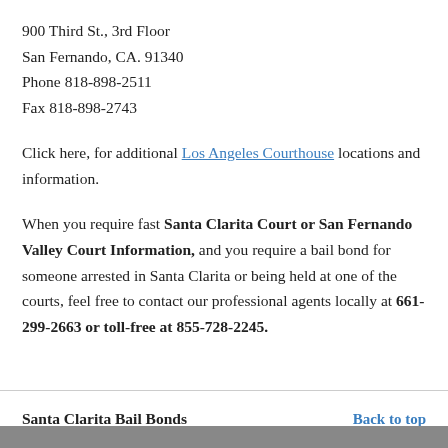900 Third St., 3rd Floor
San Fernando, CA. 91340
Phone 818-898-2511
Fax 818-898-2743
Click here, for additional Los Angeles Courthouse locations and information.
When you require fast Santa Clarita Court or San Fernando Valley Court Information, and you require a bail bond for someone arrested in Santa Clarita or being held at one of the courts, feel free to contact our professional agents locally at 661-299-2663 or toll-free at 855-728-2245.
Santa Clarita Bail Bonds   Back to top